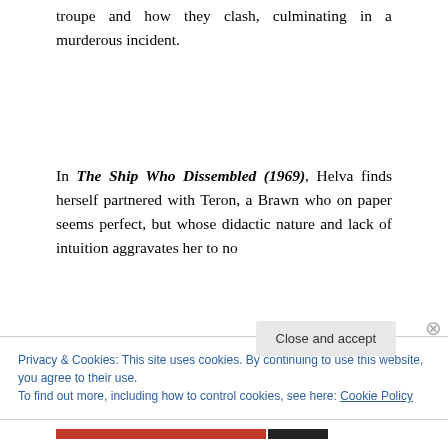troupe and how they clash, culminating in a murderous incident.
In The Ship Who Dissembled (1969), Helva finds herself partnered with Teron, a Brawn who on paper seems perfect, but whose didactic nature and lack of intuition aggravates her to no
Privacy & Cookies: This site uses cookies. By continuing to use this website, you agree to their use.
To find out more, including how to control cookies, see here: Cookie Policy